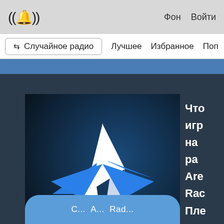((🔔)) Фон Войти
Случайное радио   Лучшее   Избранное   Поп
[Figure (logo): Arena Radio star logo — white and blue star shape on dark blue gradient background]
Что игр на ра Are Rac Пле за не
С... А... Rad...